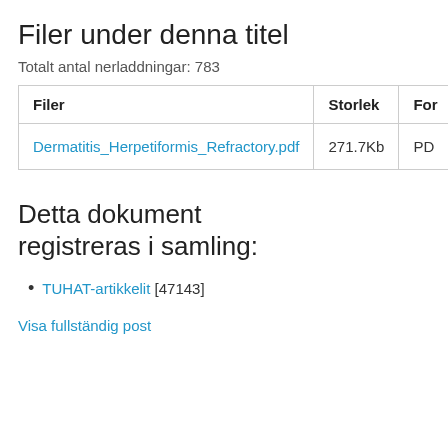Filer under denna titel
Totalt antal nerladdningar: 783
| Filer | Storlek | For… |
| --- | --- | --- |
| Dermatitis_Herpetiformis_Refractory.pdf | 271.7Kb | PD… |
Detta dokument registreras i samling:
TUHAT-artikkelit [47143]
Visa fullständig post